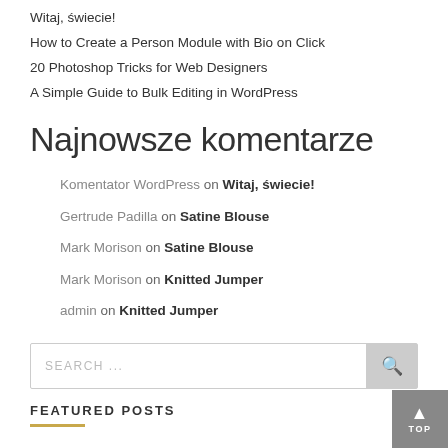Witaj, świecie!
How to Create a Person Module with Bio on Click
20 Photoshop Tricks for Web Designers
A Simple Guide to Bulk Editing in WordPress
Najnowsze komentarze
Komentator WordPress on Witaj, świecie!
Gertrude Padilla on Satine Blouse
Mark Morison on Satine Blouse
Mark Morison on Knitted Jumper
admin on Knitted Jumper
SEARCH ...
FEATURED POSTS